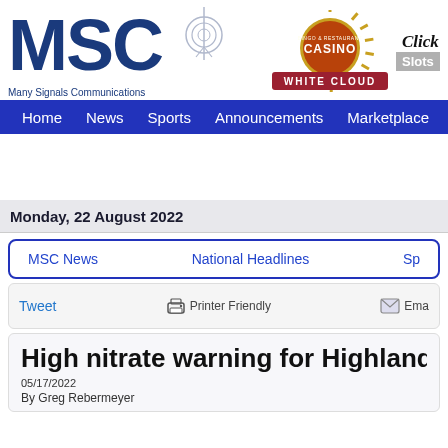[Figure (logo): MSC Many Signals Communications logo with large blue MSC letters and antenna icon]
[Figure (logo): Casino White Cloud logo with golden sunburst and red banner, with 'Click t...' and 'Slots' text]
Home  News  Sports  Announcements  Marketplace  Weather  Med...
Monday, 22 August 2022
MSC News    National Headlines    Sp...
Tweet    Printer Friendly    Ema...
High nitrate warning for Highland wat...
05/17/2022
By Greg Rebermeyer